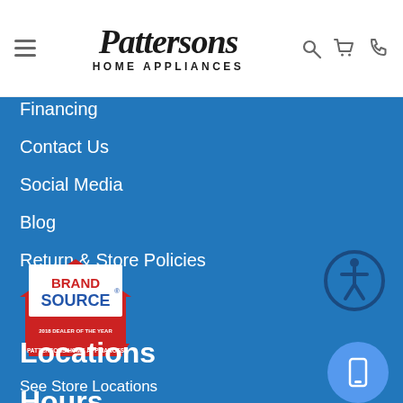Pattersons HOME APPLIANCES
Financing
Contact Us
Social Media
Blog
Return & Store Policies
[Figure (logo): Brand Source - Pattersons Home Appliances 2018 Dealer of the Year badge]
[Figure (other): Accessibility icon - person in circle with border]
Locations
See Store Locations
Hours
[Figure (other): Mobile/tablet device icon button (purple circle)]